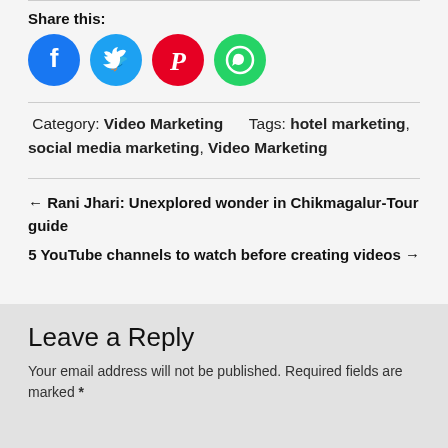Share this:
[Figure (infographic): Four social media share icons: Facebook (blue circle), Twitter (light blue circle), Pinterest (red circle), WhatsApp (green circle)]
Category: Video Marketing     Tags: hotel marketing, social media marketing, Video Marketing
← Rani Jhari: Unexplored wonder in Chikmagalur-Tour guide
5 YouTube channels to watch before creating videos →
Leave a Reply
Your email address will not be published. Required fields are marked *